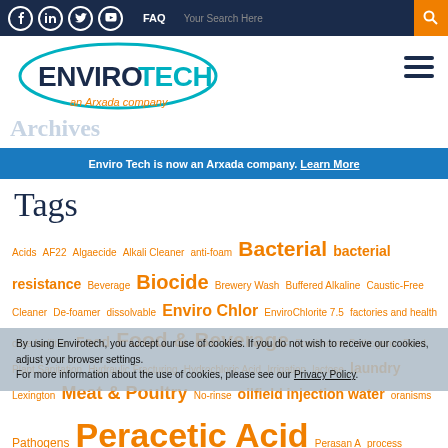FAQ  Your Search Here  [social icons: Facebook, LinkedIn, Twitter, YouTube]
[Figure (logo): EnviroTech an Arxada company logo — oval with teal outline, ENVIRO in dark blue bold, TECH in teal, tagline 'an Arxada company' in orange]
Archives
Enviro Tech is now an Arxada company. Learn More
Tags
Acids AF22 Algaecide Alkali Cleaner anti-foam Bacterial bacterial resistance Beverage Biocide Brewery Wash Buffered Alkaline Caustic-Free Cleaner De-foamer dissolvable Enviro Chlor EnviroChlorite 7.5 factories and health care facilities Food Food & Beverage Food borne Pathogens Food Plant Sanitation Hydraulic Fracturing Hydrochloric Acid Irrigation lactose laundry Lexington Meat & Poultry No-rinse oilfield injection water oranisms Pathogens Peracetic Acid Perasan A process additive Recirculating Cooling Water
By using Envirotech, you accept our use of cookies. If you do not wish to receive our cookies, adjust your browser settings. For more information about the use of cookies, please see our Privacy Policy.